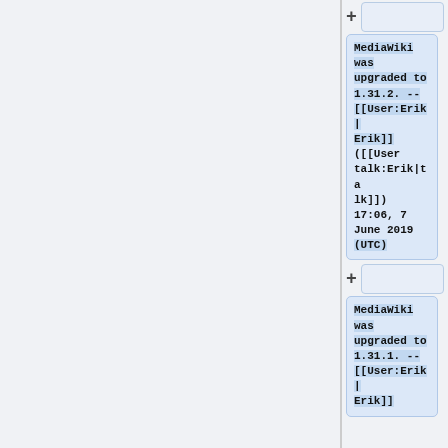+
MediaWiki was upgraded to 1.31.2. -- [[User:Erik|Erik]] ([[User talk:Erik|talk]]) 17:06, 7 June 2019 (UTC)
+
MediaWiki was upgraded to 1.31.1. -- [[User:Erik|Erik]]